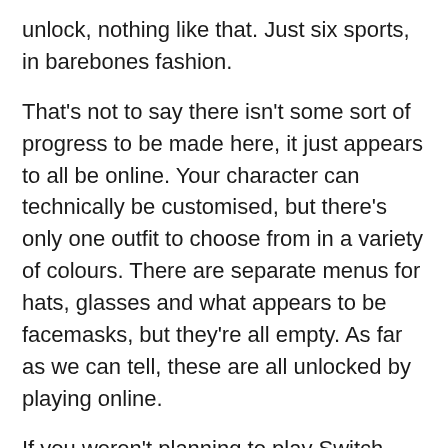unlock, nothing like that. Just six sports, in barebones fashion.
That's not to say there isn't some sort of progress to be made here, it just appears to all be online. Your character can technically be customised, but there's only one outfit to choose from in a variety of colours. There are separate menus for hats, glasses and what appears to be facemasks, but they're all empty. As far as we can tell, these are all unlocked by playing online.
If you weren't planning to play Switch Sports online, you may want to slap a three-star rating on this (or maybe even two if you're playing alone and football doesn't appeal). It's slightly absurd that – offline at least – the game offers even less than the original Wii Sports did (and Wii Sports Resort, the best in the series, blows it out of the water).